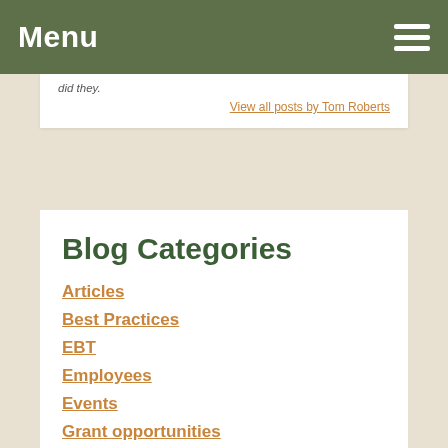Menu
did they.
View all posts by Tom Roberts
Blog Categories
Articles
Best Practices
EBT
Employees
Events
Grant opportunities
Information
license requirements
Low income access
Maine Harvest Bucks
Market Rules & Bylaws
Marketing